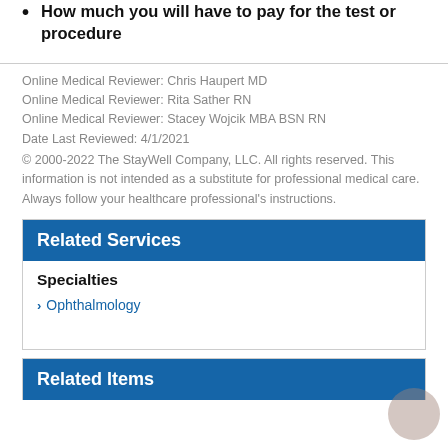How much you will have to pay for the test or procedure
Online Medical Reviewer: Chris Haupert MD
Online Medical Reviewer: Rita Sather RN
Online Medical Reviewer: Stacey Wojcik MBA BSN RN
Date Last Reviewed: 4/1/2021
© 2000-2022 The StayWell Company, LLC. All rights reserved. This information is not intended as a substitute for professional medical care. Always follow your healthcare professional's instructions.
Related Services
Specialties
Ophthalmology
Related Items